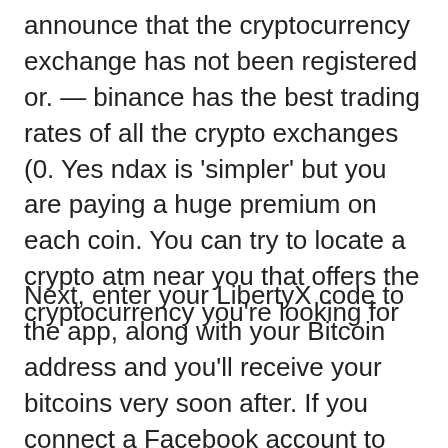announce that the cryptocurrency exchange has not been registered or. — binance has the best trading rates of all the crypto exchanges (0. Yes ndax is 'simpler' but you are paying a huge premium on each coin. You can try to locate a crypto atm near you that offers the cryptocurrency you're looking for
Next, enter your LibertyX code to the app, along with your Bitcoin address and you'll receive your bitcoins very soon after. If you connect a Facebook account to your LibertyX app, your first $1,000 of purchases are fee-free. Otherwise all purchases cost 1, cryptocurrency cardano exchange binance canada. Welcome to the